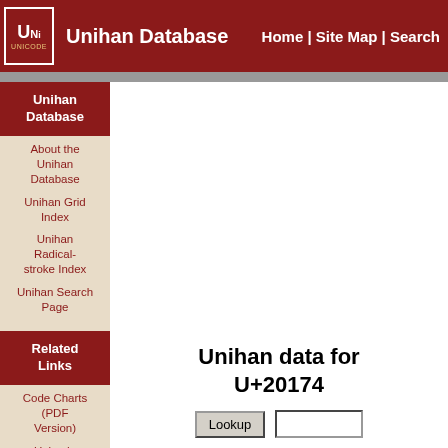Unihan Database | Home | Site Map | Search
Unihan Database
About the Unihan Database
Unihan Grid Index
Unihan Radical-stroke Index
Unihan Search Page
Related Links
Code Charts (PDF Version)
Unicode Character Names Index
Unihan data for U+20174